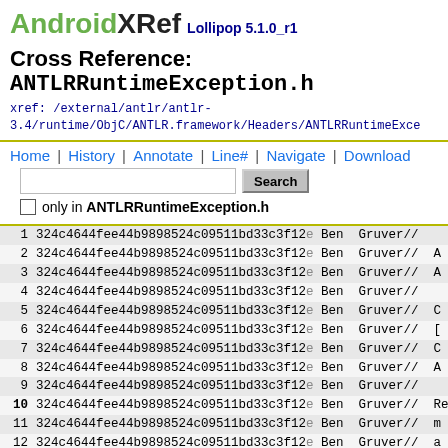AndroidXRef Lollipop 5.1.0_r1
Cross Reference: ANTLRRuntimeException.h
xref: /external/antlr/antlr-3.4/runtime/ObjC/ANTLR.framework/Headers/ANTLRRuntimeExce
Home | History | Annotate | Line# | Navigate | Download
only in ANTLRRuntimeException.h
| line | hash | author | comment |
| --- | --- | --- | --- |
| 1 | 324c4644fee44b9898524c09511bd33c3f12e | Ben Gruver | // |
| 2 | 324c4644fee44b9898524c09511bd33c3f12e | Ben Gruver | // A |
| 3 | 324c4644fee44b9898524c09511bd33c3f12e | Ben Gruver | // A |
| 4 | 324c4644fee44b9898524c09511bd33c3f12e | Ben Gruver | // |
| 5 | 324c4644fee44b9898524c09511bd33c3f12e | Ben Gruver | // C |
| 6 | 324c4644fee44b9898524c09511bd33c3f12e | Ben Gruver | // [ |
| 7 | 324c4644fee44b9898524c09511bd33c3f12e | Ben Gruver | // C |
| 8 | 324c4644fee44b9898524c09511bd33c3f12e | Ben Gruver | // A |
| 9 | 324c4644fee44b9898524c09511bd33c3f12e | Ben Gruver | // |
| 10 | 324c4644fee44b9898524c09511bd33c3f12e | Ben Gruver | // Re |
| 11 | 324c4644fee44b9898524c09511bd33c3f12e | Ben Gruver | // m |
| 12 | 324c4644fee44b9898524c09511bd33c3f12e | Ben Gruver | // a |
| 13 | 324c4644fee44b9898524c09511bd33c3f12e | Ben Gruver | // 1 |
| 14 | 324c4644fee44b9898524c09511bd33c3f12e | Ben Gruver | // |
| 15 | 324c4644fee44b9898524c09511bd33c3f12e | Ben Gruver | // 2 |